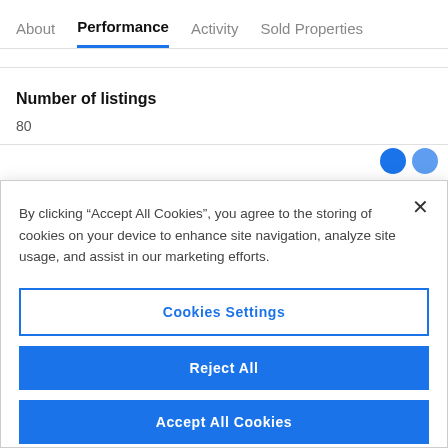About  Performance  Activity  Sold Properties
Number of listings
80
By clicking “Accept All Cookies”, you agree to the storing of cookies on your device to enhance site navigation, analyze site usage, and assist in our marketing efforts.
Cookies Settings
Reject All
Accept All Cookies